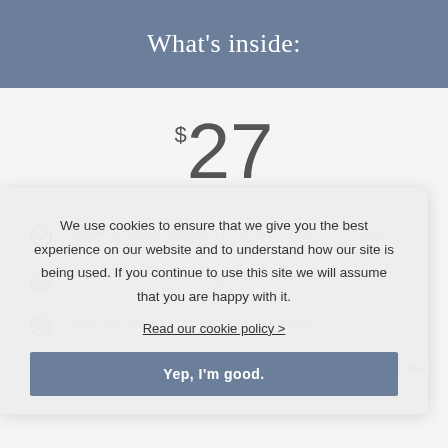What's inside:
$27
one time investment
Guide: ...guide for how to get into a [deep work state] in 15 minutes
Cheat sheet: ...keeping deep work cheat sheet nearby
Guide: the most common pitfalls of deep work
Guide: Go-to strategies for making deep work even more effective
We use cookies to ensure that we give you the best experience on our website and to understand how our site is being used. If you continue to use this site we will assume that you are happy with it.
Read our cookie policy >
Yep, I'm good.